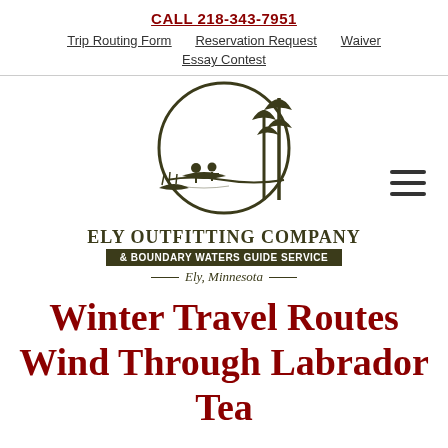CALL 218-343-7951
Trip Routing Form   Reservation Request   Waiver   Essay Contest
[Figure (logo): Ely Outfitting Company logo: circular emblem with silhouette of two people in a canoe and tall pine trees. Below: ELY OUTFITTING COMPANY & BOUNDARY WATERS GUIDE SERVICE, Ely, Minnesota]
Winter Travel Routes Wind Through Labrador Tea